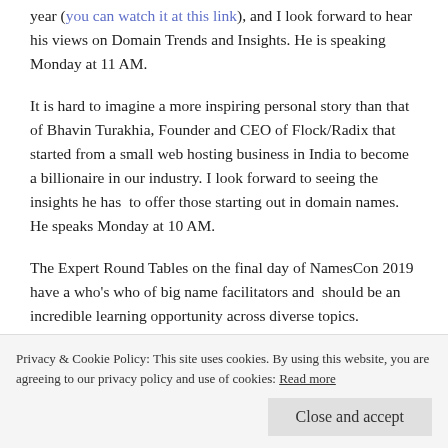year (you can watch it at this link), and I look forward to hear his views on Domain Trends and Insights. He is speaking Monday at 11 AM.
It is hard to imagine a more inspiring personal story than that of Bhavin Turakhia, Founder and CEO of Flock/Radix that started from a small web hosting business in India to become a billionaire in our industry. I look forward to seeing the insights he has  to offer those starting out in domain names. He speaks Monday at 10 AM.
The Expert Round Tables on the final day of NamesCon 2019 have a who's who of big name facilitators and  should be an incredible learning opportunity across diverse topics.
Michael Cyger speaking on Domain Investing 101 and 201!
Privacy & Cookie Policy: This site uses cookies. By using this website, you are agreeing to our privacy policy and use of cookies: Read more
Close and accept
there are opportunities at NamesCon 2019 to learn from